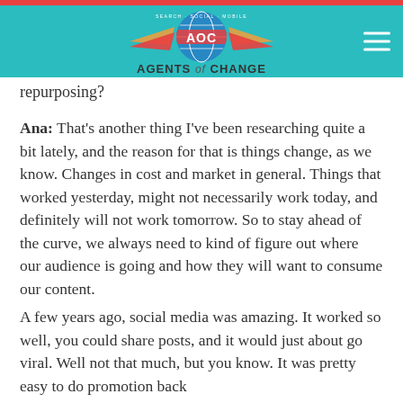[Figure (logo): Agents of Change logo with AOC text, wings, globe, and 'SEARCH · SOCIAL · MOBILE' tagline on teal navigation bar]
repurposing?
Ana: That's another thing I've been researching quite a bit lately, and the reason for that is things change, as we know. Changes in cost and market in general. Things that worked yesterday, might not necessarily work today, and definitely will not work tomorrow. So to stay ahead of the curve, we always need to kind of figure out where our audience is going and how they will want to consume our content.
A few years ago, social media was amazing. It worked so well, you could share posts, and it would just about go viral. Well not that much, but you know. It was pretty easy to do promotion back